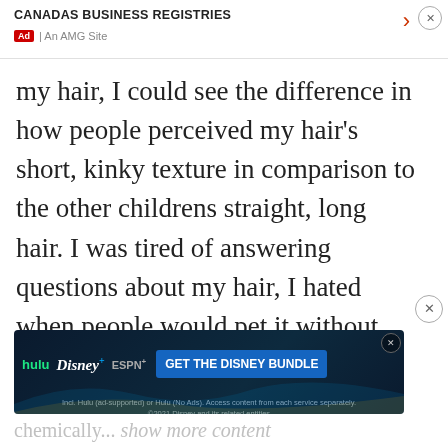CANADAS BUSINESS REGISTRIES | An AMG Site
predominantly white community. This feeling lead me to hate the texture of my hair, I could see the difference in how people perceived my hair's short, kinky texture in comparison to the other childrens straight, long hair. I was tired of answering questions about my hair, I hated when people would pet it without warning, and I resented the comments that it felt like wool, or like a dog's fur. So after years of... chemically... show more content
[Figure (other): Disney Bundle advertisement banner showing Hulu, Disney+, and ESPN+ logos with 'GET THE DISNEY BUNDLE' call to action button]